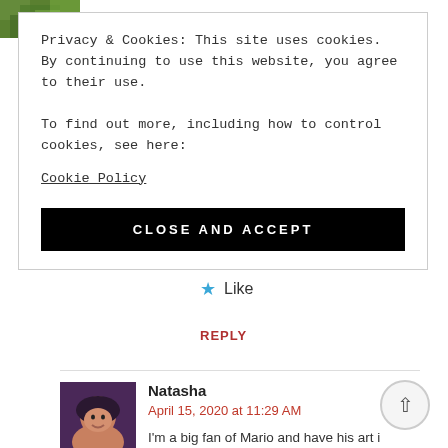[Figure (photo): Small thumbnail photo of outdoor foliage/greenery]
Privacy & Cookies: This site uses cookies. By continuing to use this website, you agree to their use.
To find out more, including how to control cookies, see here:
Cookie Policy
CLOSE AND ACCEPT
Like
REPLY
[Figure (photo): Avatar photo of commenter Natasha, woman with dark hair wearing a hat, smiling]
Natasha
April 15, 2020 at 11:29 AM

I'm a big fan of Mario and have his art in my bedroom, lounging area. Perky and positive!